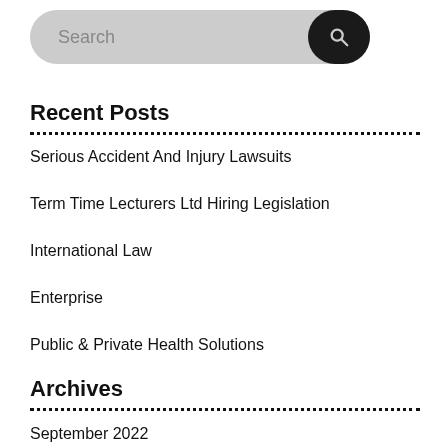[Figure (other): Search bar with grey rounded background and dark search icon button on the right]
Recent Posts
Serious Accident And Injury Lawsuits
Term Time Lecturers Ltd Hiring Legislation
International Law
Enterprise
Public & Private Health Solutions
Archives
September 2022
August 2022